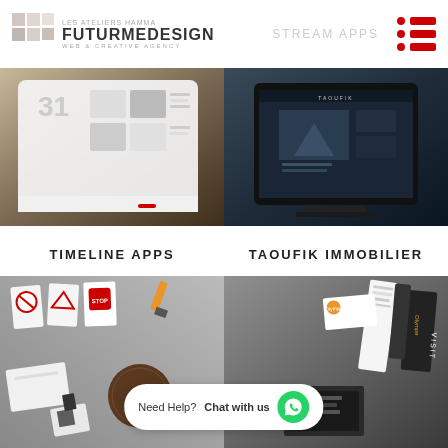LES ATELIERS HAMMA FUTURMEDESIGN — STREAM APPS
[Figure (screenshot): Tablet showing a calendar/blog app with date 31 and photos of animals]
[Figure (screenshot): iMac showing a dark real estate website called TAOUFIK with city building images]
TIMELINE APPS
TAOUFIK IMMOBILIER
[Figure (photo): Flat lay with warning sign cards, CD, business cards with QR code on gray background]
[Figure (photo): Olympe branded materials: receipt, business card, printed materials on dark background]
Need Help? Chat with us